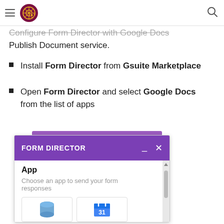Configure Form Director with Google Docs Publish Document service.
Configure Form Director with Google Docs Publish Document service.
Install Form Director from Gsuite Marketplace
Open Form Director and select Google Docs from the list of apps
[Figure (screenshot): Form Director dialog box showing App selection screen with 'Choose an app to send your form responses' text and app icons below]